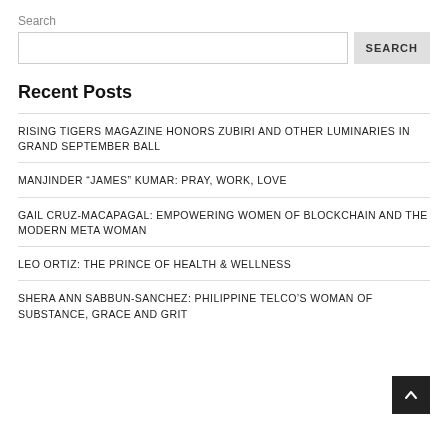Search
RISING TIGERS MAGAZINE HONORS ZUBIRI AND OTHER LUMINARIES IN GRAND SEPTEMBER BALL
MANJINDER “JAMES” KUMAR: PRAY, WORK, LOVE
GAIL CRUZ-MACAPAGAL: EMPOWERING WOMEN OF BLOCKCHAIN AND THE MODERN META WOMAN
LEO ORTIZ: THE PRINCE OF HEALTH & WELLNESS
SHERA ANN SABBUN-SANCHEZ: PHILIPPINE TELCO’S WOMAN OF SUBSTANCE, GRACE AND GRIT